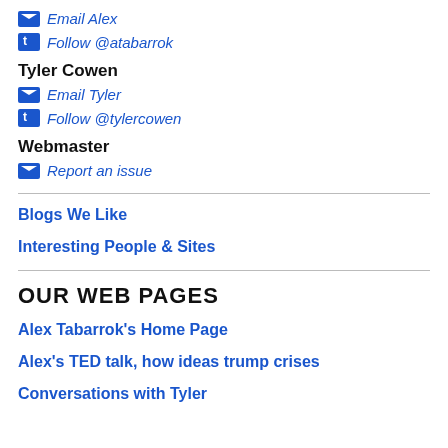Email Alex
Follow @atabarrok
Tyler Cowen
Email Tyler
Follow @tylercowen
Webmaster
Report an issue
Blogs We Like
Interesting People & Sites
OUR WEB PAGES
Alex Tabarrok's Home Page
Alex's TED talk, how ideas trump crises
Conversations with Tyler